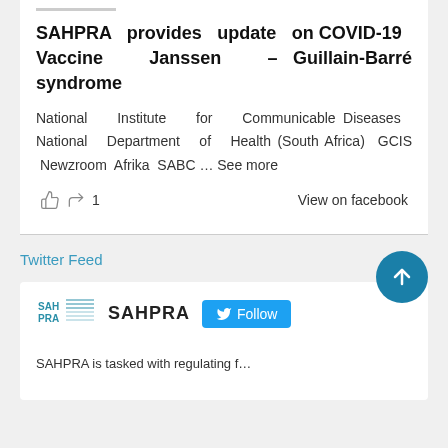SAHPRA provides update on COVID-19 Vaccine Janssen – Guillain-Barré syndrome
National Institute for Communicable Diseases National Department of Health (South Africa) GCIS Newzroom Afrika SABC … See more
View on facebook
Twitter Feed
[Figure (logo): SAHPRA logo with text SAHPRA and a Follow button on Twitter/X platform]
SAHPRA is tasked with regulating f…